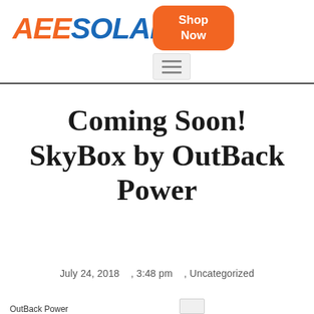AEESOLAR Shop Now
Coming Soon! SkyBox by OutBack Power
July 24, 2018    , 3:48 pm     , Uncategorized